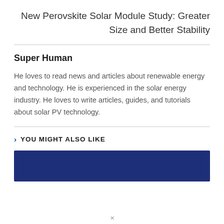New Perovskite Solar Module Study: Greater Size and Better Stability
Super Human
He loves to read news and articles about renewable energy and technology. He is experienced in the solar energy industry. He loves to write articles, guides, and tutorials about solar PV technology.
YOU MIGHT ALSO LIKE
[Figure (photo): Dark navy blue banner image placeholder for a related article thumbnail]